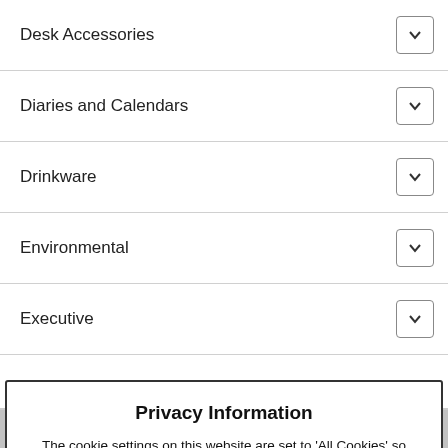Desk Accessories
Diaries and Calendars
Drinkware
Environmental
Executive
Glassware and Awards
Health and Wellbeing
Keell or a tell and
Lifestyle and Leisure
Balls
Bar Accessories
Privacy Information
The cookie settings on this website are set to 'All Cookies' so that you have the best online experience possible from our site. Without changing this setting you consent to this. If you wish to opt out click on the 'change cookie settings' link.
Accept and close
Privacy Policy | Cookie Settings